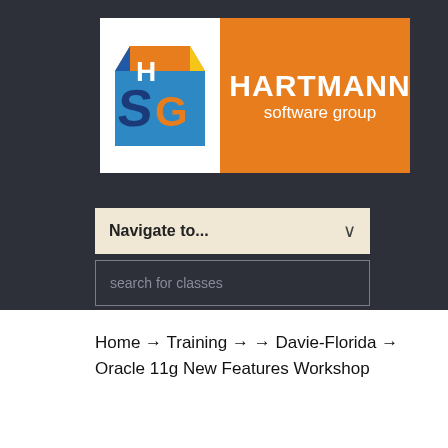[Figure (logo): Hartmann Software Group logo with colorful 3D cube icon and orange text banner]
Navigate to...
search for classes
Home → Training → → Davie-Florida → Oracle 11g New Features Workshop